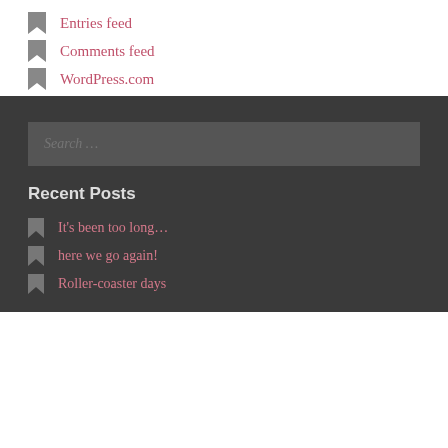Entries feed
Comments feed
WordPress.com
Search …
Recent Posts
It's been too long…
here we go again!
Roller-coaster days